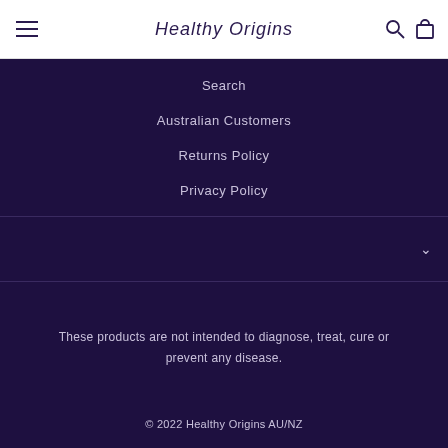Healthy Origins
Search
Australian Customers
Returns Policy
Privacy Policy
These products are not intended to diagnose, treat, cure or prevent any disease.
© 2022 Healthy Origins AU/NZ